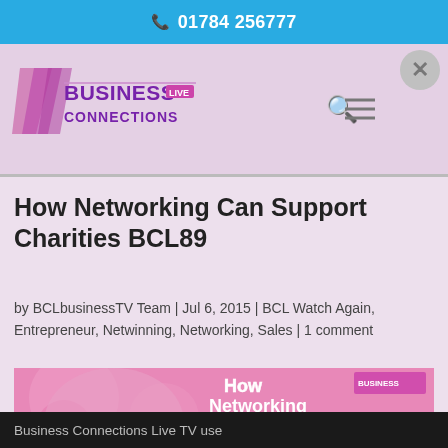📞 01784 256777
[Figure (logo): Business Connections Live TV logo in purple/pink tones with diagonal stripe graphic]
How Networking Can Support Charities BCL89
by BCLbusinessTV Team | Jul 6, 2015 | BCL Watch Again, Entrepreneur, Netwinning, Networking, Sales | 1 comment
[Figure (photo): Promotional image showing a smiling older woman with blonde hair on a pink background with text: How Networking Supports Charities, with Business Connections Live logo. Text at bottom: ...Ste...let's]
Business Connections Live TV use